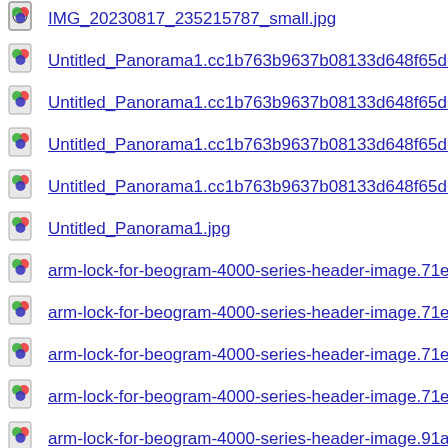IMG_20230817_235215787_small.jpg
Untitled_Panorama1.cc1b763b9637b08133d648f65d65768e6d9...
Untitled_Panorama1.cc1b763b9637b08133d648f65d65768e6d9...
Untitled_Panorama1.cc1b763b9637b08133d648f65d65768e6d9...
Untitled_Panorama1.cc1b763b9637b08133d648f65d65768e6d9...
Untitled_Panorama1.jpg
arm-lock-for-beogram-4000-series-header-image.71e2bb3ee49f2...
arm-lock-for-beogram-4000-series-header-image.71e2bb3ee49f2...
arm-lock-for-beogram-4000-series-header-image.71e2bb3ee49f2...
arm-lock-for-beogram-4000-series-header-image.71e2bb3ee49f2...
arm-lock-for-beogram-4000-series-header-image.91aca4f63e820...
arm-lock-for-beogram-4000-series-header-image.91aca4f63e820...